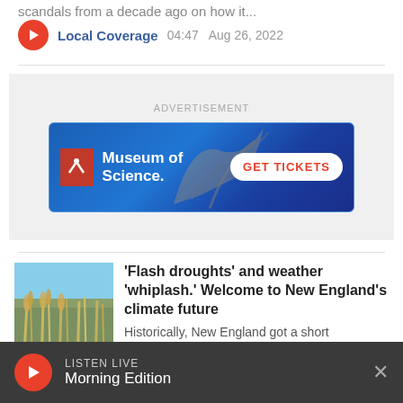scandals from a decade ago on how it...
Local Coverage  04:47  Aug 26, 2022
[Figure (other): Museum of Science advertisement banner with GET TICKETS button]
'Flash droughts' and weather 'whiplash.' Welcome to New England's climate future
Historically, New England got a short
LISTEN LIVE  Morning Edition